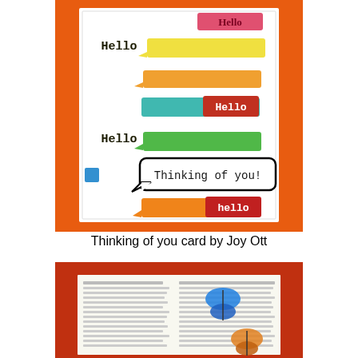[Figure (photo): A handmade greeting card with colorful speech bubble stamps in rainbow colors (red, yellow, orange, teal, green, orange) saying 'Hello' and one central bubble saying 'Thinking of you!', displayed on an orange background.]
Thinking of you card by Joy Ott
[Figure (photo): A partially visible handmade card featuring dictionary pages as background with butterfly stickers/stamps in blue and orange colors.]